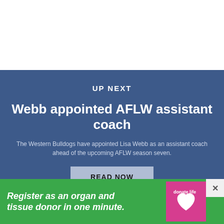[Figure (screenshot): White top area of a webpage]
UP NEXT
Webb appointed AFLW assistant coach
The Western Bulldogs have appointed Lisa Webb as an assistant coach ahead of the upcoming AFLW season seven.
[Figure (screenshot): READ NOW button on blue background]
[Figure (infographic): Green advertisement banner: Register as an organ and tissue donor in one minute. with donate life logo and close button]